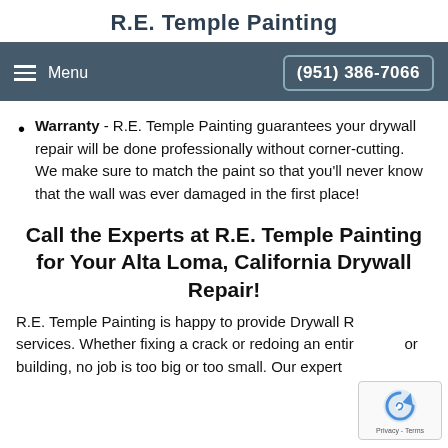R.E. Temple Painting
Menu  (951) 386-7066
Warranty - R.E. Temple Painting guarantees your drywall repair will be done professionally without corner-cutting. We make sure to match the paint so that you'll never know that the wall was ever damaged in the first place!
Call the Experts at R.E. Temple Painting for Your Alta Loma, California Drywall Repair!
R.E. Temple Painting is happy to provide Drywall Repair services. Whether fixing a crack or redoing an entire room or building, no job is too big or too small. Our expert